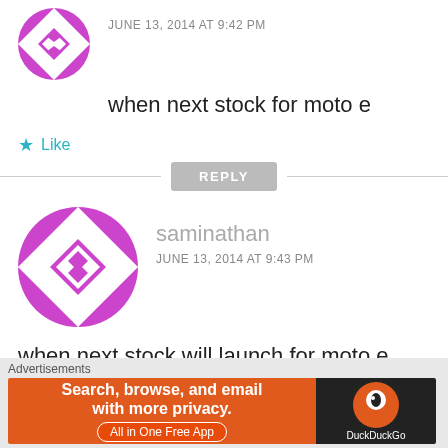[Figure (illustration): Circular avatar with purple/magenta geometric pattern (partial, top of page)]
JUNE 13, 2014 AT 9:42 PM
when next stock for moto e
Like
REPLY
[Figure (illustration): Circular avatar with purple/magenta geometric pattern for saminathan]
saminathan
JUNE 13, 2014 AT 9:43 PM
when next stock will launch for moto e
Advertisements
[Figure (screenshot): DuckDuckGo advertisement banner: Search, browse, and email with more privacy. All in One Free App]